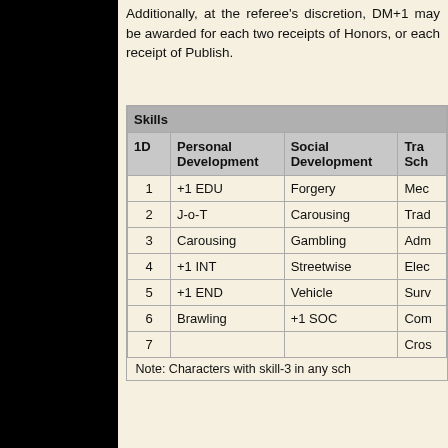Additionally, at the referee's discretion, DM+1 may be awarded for each two receipts of Honors, or each receipt of Publish.
| 1D | Personal Development | Social Development | Tra... Sch... |
| --- | --- | --- | --- |
| 1 | +1 EDU | Forgery | Med... |
| 2 | J-o-T | Carousing | Tra... |
| 3 | Carousing | Gambling | Adm... |
| 4 | +1 INT | Streetwise | Ele... |
| 5 | +1 END | Vehicle | Sur... |
| 6 | Brawling | +1 SOC | Com... |
| 7 |  |  | Cro... |
Note: Characters with skill-3 in any sch...